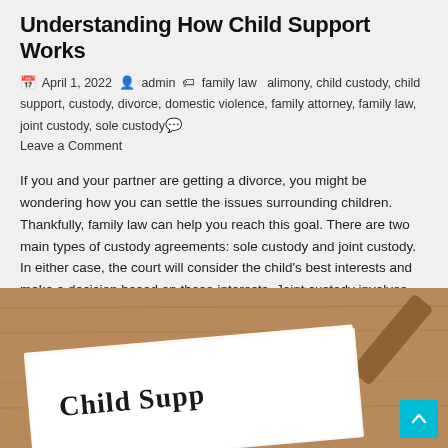Understanding How Child Support Works
📅 April 1, 2022  👤 admin  🏷 family law  alimony, child custody, child support, custody, divorce, domestic violence, family attorney, family law, joint custody, sole custody 💬 Leave a Comment
If you and your partner are getting a divorce, you might be wondering how you can settle the issues surrounding children. Thankfully, family law can help you reach this goal. There are two main types of custody agreements: sole custody and joint custody. In either case, the court will consider the child's best interests and make a decision based on those interests. Joint custody involves joint decision-making for the child, but there are many factors to consider.
[Figure (photo): Photo showing a 'Child Support' document paper on a wooden surface with a judge's gavel in the background. The bottom portion of the image is visible with 'Child Supp' text visible on the document.]